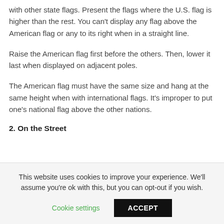with other state flags. Present the flags where the U.S. flag is higher than the rest. You can't display any flag above the American flag or any to its right when in a straight line.
Raise the American flag first before the others. Then, lower it last when displayed on adjacent poles.
The American flag must have the same size and hang at the same height when with international flags. It's improper to put one's national flag above the other nations.
2. On the Street
This website uses cookies to improve your experience. We'll assume you're ok with this, but you can opt-out if you wish.